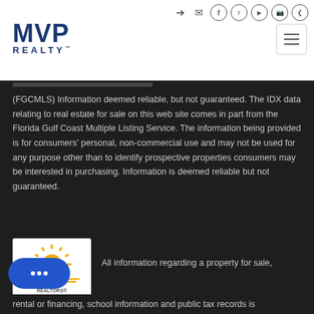[Figure (logo): MVP Realty logo in dark blue with bold MVP text and REALTY text below]
[Figure (infographic): Social media icons row including login, email, Facebook, Twitter, YouTube, Instagram, Pinterest]
(FGCMLS) Information deemed reliable, but not guaranteed. The IDX data relating to real estate for sale on this web site comes in part from the Florida Gulf Coast Multiple Listing Service. The information being provided is for consumers' personal, non-commercial use and may not be used for any purpose other than to identify prospective properties consumers may be interested in purchasing. Information is deemed reliable but not guaranteed.
[Figure (logo): Florida Gulf Coast Multiple Listing Service (FGCMLS) logo with orange sun and heron illustration, REALTORS text at bottom]
All information regarding a property for sale, rental or financing, school information and public tax records is